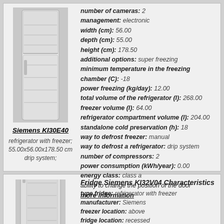[Figure (photo): Photo of Siemens KI30E40 refrigerator with freezer]
Siemens KI30E40
refrigerator with freezer; 55.00x56.00x178.50 cm drip system;
number of cameras: 2 management: electronic width (cm): 56.00 depth (cm): 55.00 height (cm): 178.50 additional options: super freezing minimum temperature in the freezing chamber (C): -18 power freezing (kg/day): 12.00 total volume of the refrigerator (l): 268.00 freezer volume (l): 64.00 refrigerator compartment volume (l): 204.00 standalone cold preservation (h): 18 way to defrost freezer: manual way to defrost a refrigerator: drip system number of compressors: 2 power consumption (kWh/year): 0.00 energy class: class a ability to change the position of the door more information
[Figure (photo): Photo of Siemens KI32V04 refrigerator]
Fridge Siemens KI32V04 Characteristics type fridge: refrigerator with freezer manufacturer: Siemens freezer location: above fridge location: recessed number of doors: 1 number of cameras: 1 management: electromechanical width (cm): 56.00 depth (cm): 55.00 height (cm): 178.50